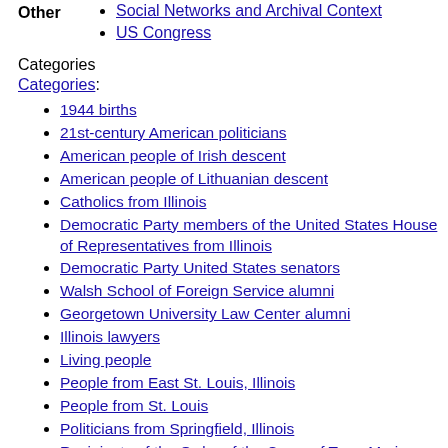Social Networks and Archival Context
US Congress
Categories
Categories:
1944 births
21st-century American politicians
American people of Irish descent
American people of Lithuanian descent
Catholics from Illinois
Democratic Party members of the United States House of Representatives from Illinois
Democratic Party United States senators
Walsh School of Foreign Service alumni
Georgetown University Law Center alumni
Illinois lawyers
Living people
People from East St. Louis, Illinois
People from St. Louis
Politicians from Springfield, Illinois
Recipients of the Order of the Cross of Terra Mariana, 1st Class
United States senators from Illinois